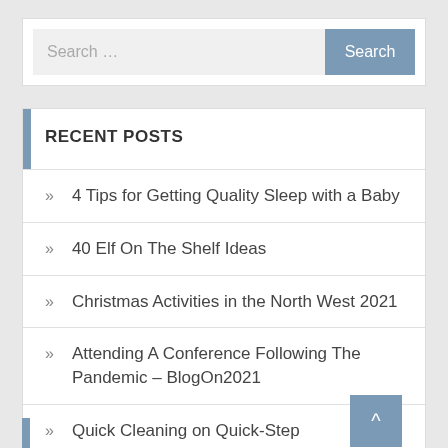Search ...
RECENT POSTS
4 Tips for Getting Quality Sleep with a Baby
40 Elf On The Shelf Ideas
Christmas Activities in the North West 2021
Attending A Conference Following The Pandemic – BlogOn2021
Quick Cleaning on Quick-Step